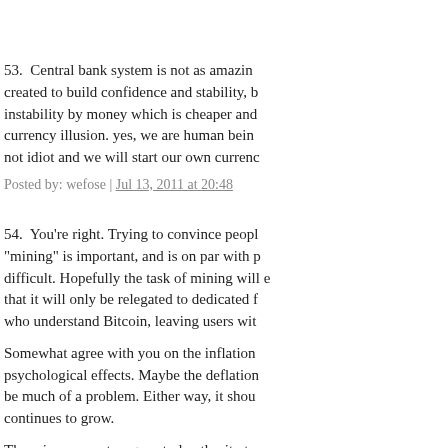53.  Central bank system is not as amazing as created to build confidence and stability, b... instability by money which is cheaper and... currency illusion. yes, we are human bei... not idiot and we will start our own currenc...
Posted by: wefose | Jul 13, 2011 at 20:48
54.  You're right. Trying to convince peop... "mining" is important, and is on par with p... difficult. Hopefully the task of mining will e... that it will only be relegated to dedicated f... who understand Bitcoin, leaving users wit...

Somewhat agree with you on the inflation... psychological effects. Maybe the deflation... be much of a problem. Either way, it shou... continues to grow.

There is no one strong central authority to... the "central authority" that keeps bitcoin s... secure than either Windows or Mac. It's a... open source community, writing and impr... Linux, these nerds have their actual "real"... more incentive to make sure this thing sta... quickly.